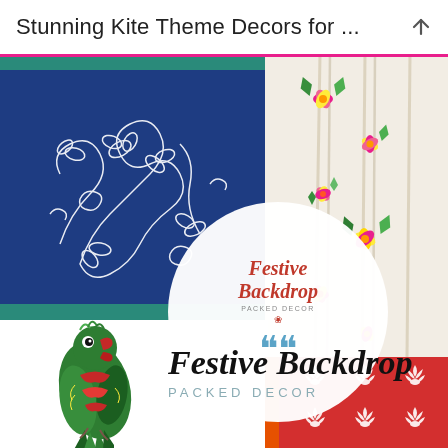Stunning Kite Theme Decors for ...
[Figure (photo): Blue fabric/textile with white floral and vine embroidery/print pattern, teal border at top and bottom]
[Figure (photo): Decorative hanging garland with colorful flowers (pink, yellow, green) and macrame/rope elements on white background]
[Figure (illustration): Circular white overlay badge with text 'Festive Backdrop', subtitle 'PACKED DECOR', small flower icon, and large teal quotation marks]
[Figure (illustration): Colorful folk art parrot illustration with decorative beaded tail, in green, red, and pink tones]
Festive Backdrop
PACKED DECOR
[Figure (photo): Red fabric/textile with white lotus flower motif pattern and orange border]